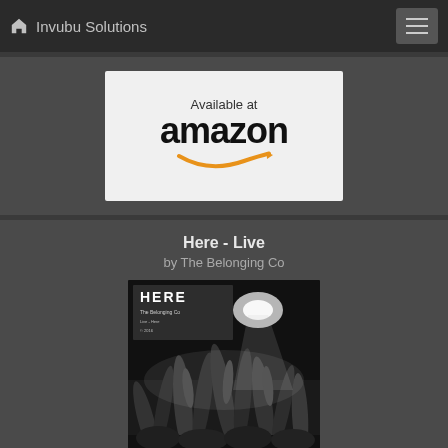Invubu Solutions
[Figure (logo): Available at amazon badge with orange smile logo on light grey background]
Here - Live
by The Belonging Co
[Figure (photo): Black and white photo of concert crowd with hands raised, album cover for 'HERE' by The Belonging Co]